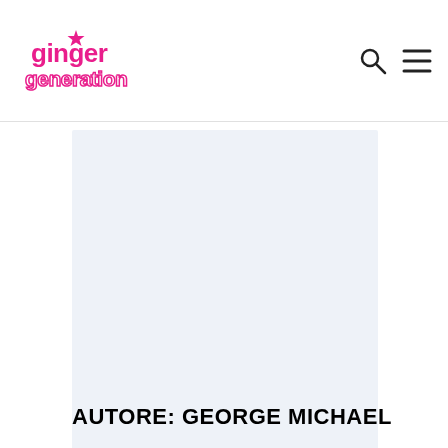ginger generation
[Figure (photo): Light blue/grey rectangular image placeholder area]
AUTORE: GEORGE MICHAEL